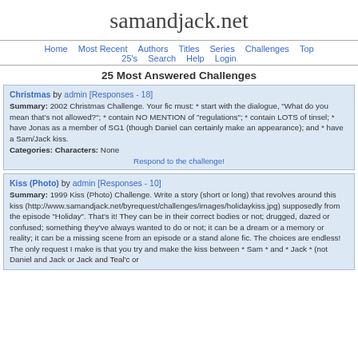samandjack.net
Home  Most Recent  Authors  Titles  Series  Challenges  Top  25's  Search  Help  Login
25 Most Answered Challenges
Christmas by admin [Responses - 18]
Summary: 2002 Christmas Challenge. Your fic must: * start with the dialogue, "What do you mean that's not allowed?"; * contain NO MENTION of "regulations"; * contain LOTS of tinsel; * have Jonas as a member of SG1 (though Daniel can certainly make an appearance); and * have a Sam/Jack kiss.
Categories: Characters: None
Respond to the challenge!
Kiss (Photo) by admin [Responses - 10]
Summary: 1999 Kiss (Photo) Challenge. Write a story (short or long) that revolves around this kiss (http://www.samandjack.net/byrequest/challenges/images/holidaykiss.jpg) supposedly from the episode "Holiday". That's it! They can be in their correct bodies or not; drugged, dazed or confused; something they've always wanted to do or not; it can be a dream or a memory or reality; it can be a missing scene from an episode or a stand alone fic. The choices are endless! The only request I make is that you try and make the kiss between * Sam * and * Jack * (not Daniel and Jack or Jack and Teal'c or